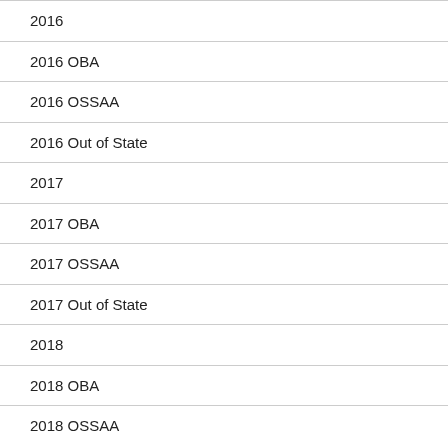2016
2016 OBA
2016 OSSAA
2016 Out of State
2017
2017 OBA
2017 OSSAA
2017 Out of State
2018
2018 OBA
2018 OSSAA